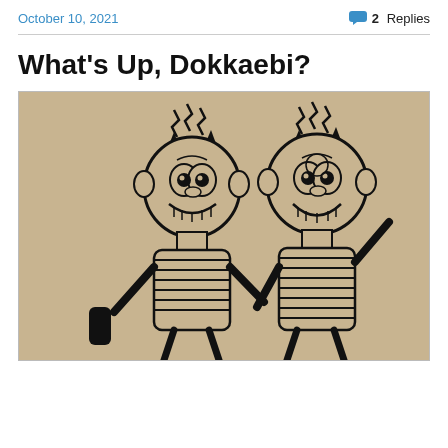October 10, 2021
💬 2 Replies
What's Up, Dokkaebi?
[Figure (illustration): Woodblock print illustration of two Dokkaebi (Korean goblin) figures with wild spiked hair, fierce faces with big eyes and teeth, and patterned bodies, on a tan/brown background. The left figure holds a club-like object, the right figure raises a hand. Both have striped torsos.]